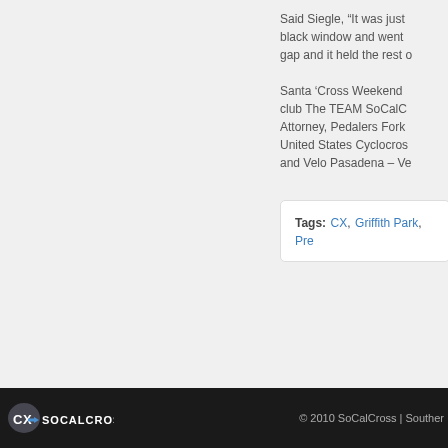Said Siegle, “It was just black window and went gap and it held the rest o
Santa ‘Cross Weekend club The TEAM SoCalC Attorney, Pedalers Fork United States Cyclocros and Velo Pasadena – Ve
Tags: CX, Griffith Park, Pre
[Figure (logo): SoCalCross logo - stylized CX letters with arrow, white/grey text on dark background]
© 2010 SoCalCross | Souther